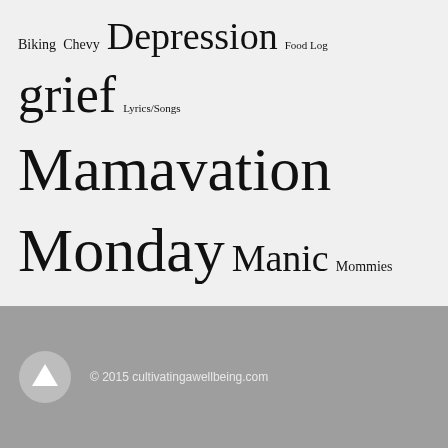Biking Chevy Depression Food Log grief Lyrics/Songs Mamavation Monday Manic Mommies Mercy My girls Self Care Sleep Spiritual Tackle it Tuesday TNT Uncategorized Weight WLS
TAGS
Blissdom eating Inspiration Lessons Lyrics Peace sleep Vitamins Weight loss
© 2015 cultivatingawellbeing.com